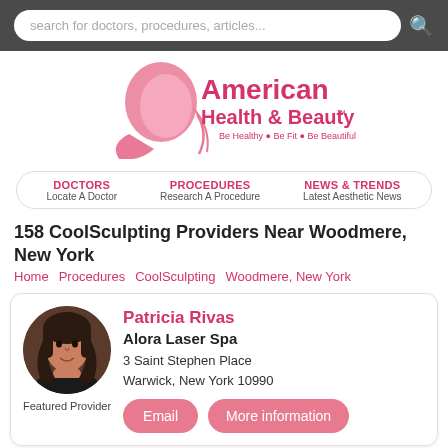[Figure (screenshot): Search bar with text: search for doctors, procedures, articles...]
[Figure (logo): American Health & Beauty logo with pink silhouette face and tagline: Be Healthy • Be Fit • Be Beautiful]
DOCTORS  Locate A Doctor    PROCEDURES  Research A Procedure    NEWS & TRENDS  Latest Aesthetic News
158 CoolSculpting Providers Near Woodmere, New York
Home    Procedures    CoolSculpting    Woodmere, New York
Patricia Rivas
Alora Laser Spa
3 Saint Stephen Place
Warwick, New York 10990
Featured Provider